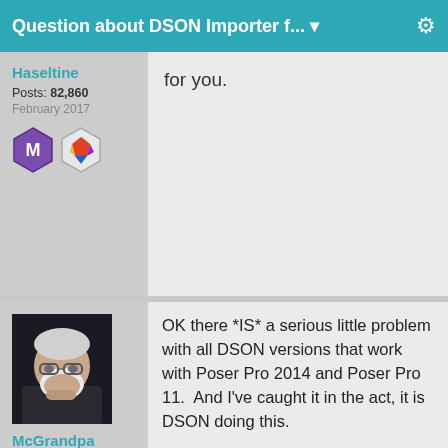Question about DSON Importer f...
for you.
Haseltine
Posts: 82,860
February 2017
[Figure (illustration): McGrandpa avatar: older man with white beard and glasses, dark background]
McGrandpa
Posts: 464
March 2017
OK there *IS* a serious little problem with all DSON versions that work with Poser Pro 2014 and Poser Pro 11.  And I've caught it in the act, it is DSON doing this.

DSON does not *copy* anything.  It flat out MOVES, as in pick an item out of DATA and delete it, then put it where it wants to in whatever format